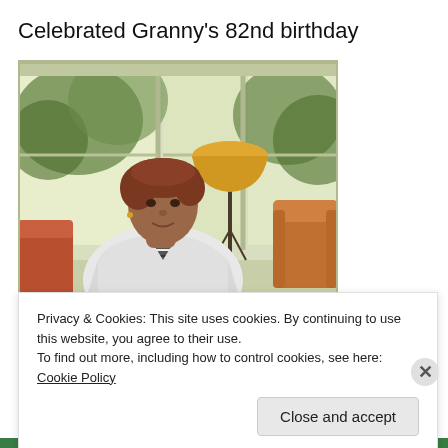Celebrated Granny's 82nd birthday
[Figure (photo): An elderly woman with short reddish-brown hair wearing a white cardigan and striped shirt, sitting in a sunroom with large windows. A floor lamp with an orange shade and an orange armchair are visible in the background, along with trees outside the windows.]
Privacy & Cookies: This site uses cookies. By continuing to use this website, you agree to their use.
To find out more, including how to control cookies, see here: Cookie Policy
Close and accept